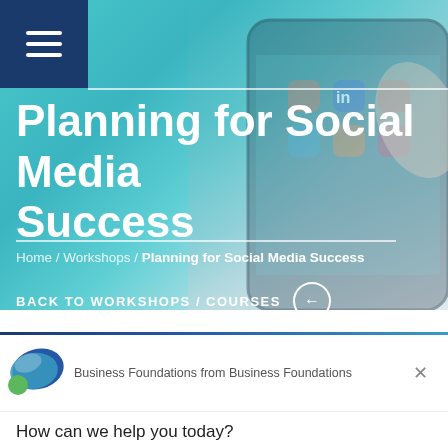[Figure (screenshot): Hero banner with smartphone showing social media app icons, overlaid with teal/cyan gradient background]
Planning for Social Media Success
Home / Workshops / Planning for Social Media Success
BACK TO WORKSHOPS / COURSES
[Figure (logo): Business Foundations logo with blue and green swoosh shapes]
Business Foundations from Business Foundations
How can we help you today?
Reply to Business Foundations
Chat ⚡ by Drift